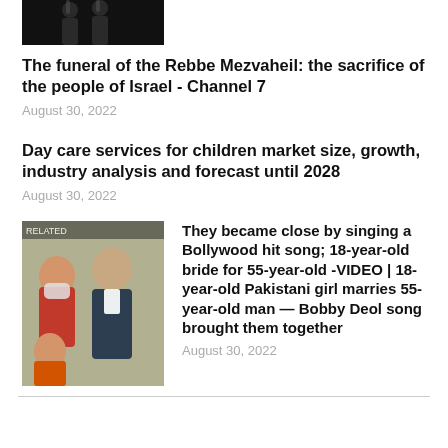[Figure (photo): Partial top image showing two silhouette figures on dark background, cropped]
The funeral of the Rebbe Mezvaheil: the sacrifice of the people of Israel - Channel 7
August 30, 2022
Day care services for children market size, growth, industry analysis and forecast until 2028
August 30, 2022
[Figure (photo): Photo of people including woman in mask and man, appears to be South Asian context]
They became close by singing a Bollywood hit song; 18-year-old bride for 55-year-old -VIDEO | 18-year-old Pakistani girl marries 55-year-old man — Bobby Deol song brought them together
August 30, 2022